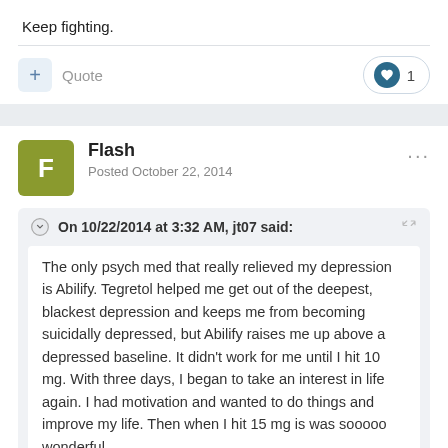Keep fighting.
Quote  1
Flash
Posted October 22, 2014
On 10/22/2014 at 3:32 AM, jt07 said:
The only psych med that really relieved my depression is Abilify. Tegretol helped me get out of the deepest, blackest depression and keeps me from becoming suicidally depressed, but Abilify raises me up above a depressed baseline. It didn't work for me until I hit 10 mg. With three days, I began to take an interest in life again. I had motivation and wanted to do things and improve my life. Then when I hit 15 mg is was sooooo wonderful.